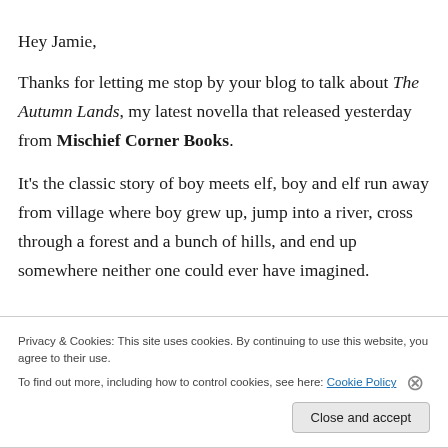Hey Jamie,
Thanks for letting me stop by your blog to talk about The Autumn Lands, my latest novella that released yesterday from Mischief Corner Books.
It's the classic story of boy meets elf, boy and elf run away from village where boy grew up, jump into a river, cross through a forest and a bunch of hills, and end up somewhere neither one could ever have imagined.
Privacy & Cookies: This site uses cookies. By continuing to use this website, you agree to their use.
To find out more, including how to control cookies, see here: Cookie Policy
Close and accept